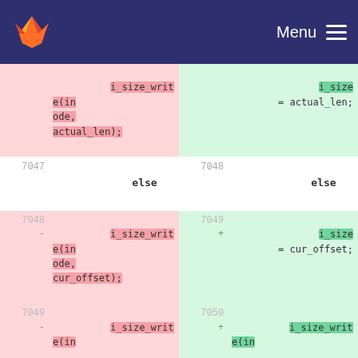GitLab navigation bar with logo and Menu
[Figure (screenshot): Code diff view showing two columns (old/new) with line numbers and highlighted changes. Lines 7047-7050 show a diff replacing i_size_write(inode, actual_len) and i_size_write(inode, cur_offset) calls with i_size = actual_len and i_size = cur_offset assignments.]